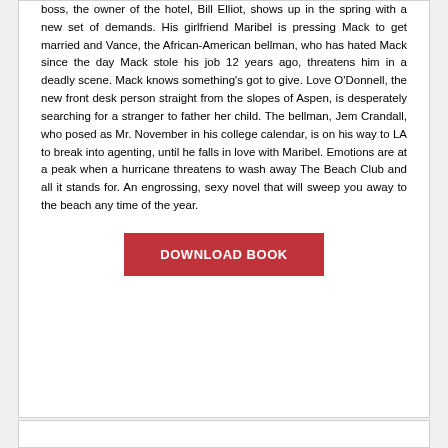boss, the owner of the hotel, Bill Elliot, shows up in the spring with a new set of demands. His girlfriend Maribel is pressing Mack to get married and Vance, the African-American bellman, who has hated Mack since the day Mack stole his job 12 years ago, threatens him in a deadly scene. Mack knows something's got to give. Love O'Donnell, the new front desk person straight from the slopes of Aspen, is desperately searching for a stranger to father her child. The bellman, Jem Crandall, who posed as Mr. November in his college calendar, is on his way to LA to break into agenting, until he falls in love with Maribel. Emotions are at a peak when a hurricane threatens to wash away The Beach Club and all it stands for. An engrossing, sexy novel that will sweep you away to the beach any time of the year.
DOWNLOAD BOOK